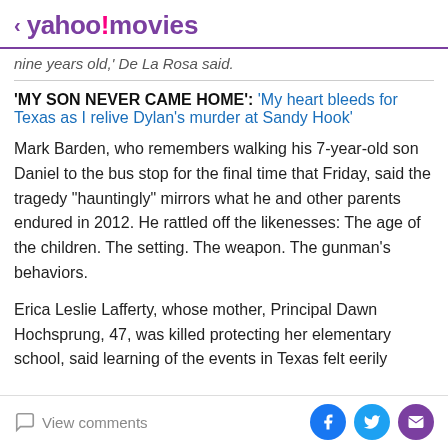< yahoo!movies
nine years old,' De La Rosa said.
'MY SON NEVER CAME HOME': 'My heart bleeds for Texas as I relive Dylan's murder at Sandy Hook'
Mark Barden, who remembers walking his 7-year-old son Daniel to the bus stop for the final time that Friday, said the tragedy "hauntingly" mirrors what he and other parents endured in 2012. He rattled off the likenesses: The age of the children. The setting. The weapon. The gunman's behaviors.
Erica Leslie Lafferty, whose mother, Principal Dawn Hochsprung, 47, was killed protecting her elementary school, said learning of the events in Texas felt eerily
View comments